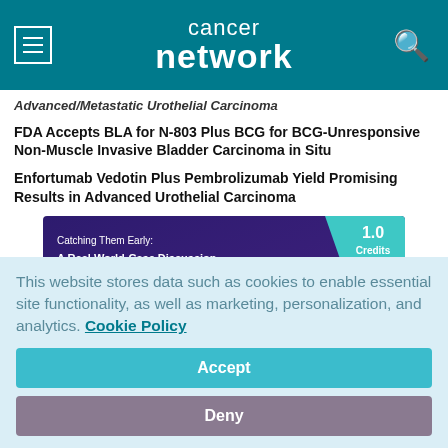cancer network
Advanced/Metastatic Urothelial Carcinoma
FDA Accepts BLA for N-803 Plus BCG for BCG-Unresponsive Non-Muscle Invasive Bladder Carcinoma in Situ
Enfortumab Vedotin Plus Pembrolizumab Yield Promising Results in Advanced Urothelial Carcinoma
[Figure (infographic): Ad banner: Catching Them Early: A Real World-Case Discussion on the Application of Testing Methodologies to Identify Key Markers Across NSCLC. 1.0 Credits Available.]
This website stores data such as cookies to enable essential site functionality, as well as marketing, personalization, and analytics. Cookie Policy
Accept
Deny